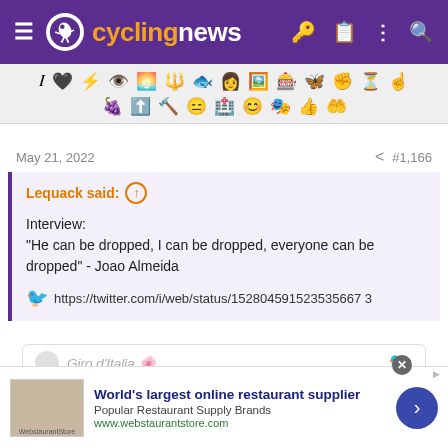cyclingnews
[Figure (other): Emoji/icon toolbar with two rows of various emoji icons]
May 21, 2022  #1,166
Lequack said: Interview: "He can be dropped, I can be dropped, everyone can be dropped" - Joao Almeida  https://twitter.com/i/web/status/152804591523535667 3
[Figure (screenshot): Embedded tweet preview showing Giro d'Italia with Twitter bird icon]
World's largest online restaurant supplier Popular Restaurant Supply Brands www.webstaurantstore.com